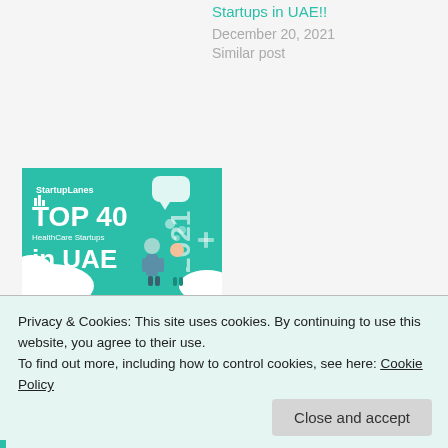Startups in UAE!!
December 20, 2021
Similar post
[Figure (illustration): Teal card with 'StartupLanes TOP 40 HealthCare Startups in UAE 2021' text and illustrated characters]
Top 40 HealthCare Startups in UAE!!
December 24, 2021
Similar post
Privacy & Cookies: This site uses cookies. By continuing to use this website, you agree to their use.
To find out more, including how to control cookies, see here: Cookie Policy
Close and accept